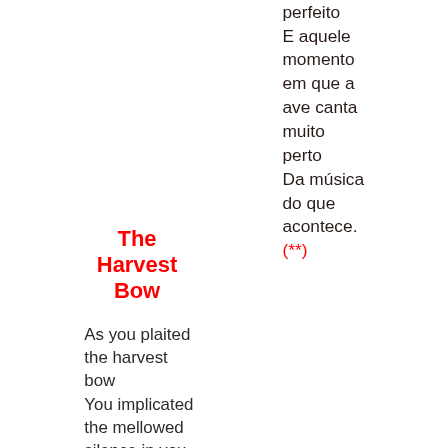perfeito
E aquele momento em que a ave canta muito perto
Da música do que acontece.
(**)
The Harvest Bow
As you plaited the harvest bow
You implicated the mellowed silence in you
In wheat that does not rust
But brightens